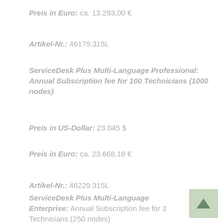Preis in Euro: ca. 13.293,00 €
Artikel-Nr.: 46179.315L
ServiceDesk Plus Multi-Language Professional: Annual Subscription fee for 100 Technicians (1000 nodes)
Preis in US-Dollar: 23.045 $
Preis in Euro: ca. 23.668,18 €
Artikel-Nr.: 46229.315L
ServiceDesk Plus Multi-Language Enterprise: Annual Subscription fee for 2 Technicians (250 nodes)
Preis in US-Dollar: 1.445 $
Preis in Euro: ca. 1.484,08 €